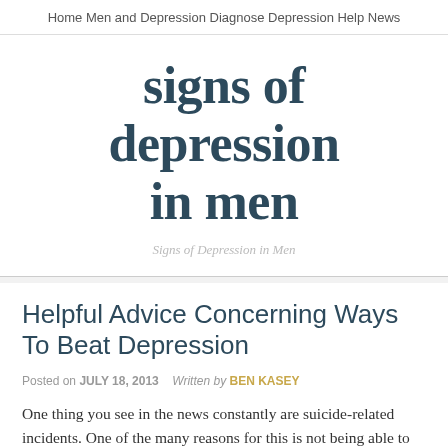Home   Men and Depression   Diagnose   Depression Help   News
signs of depression in men
Signs of Depression in Men
Helpful Advice Concerning Ways To Beat Depression
Posted on JULY 18, 2013   Written by BEN KASEY
One thing you see in the news constantly are suicide-related incidents. One of the many reasons for this is not being able to cope with depression. It is a very sad realization, but it is the truth. Consider the following helpful advice concerning